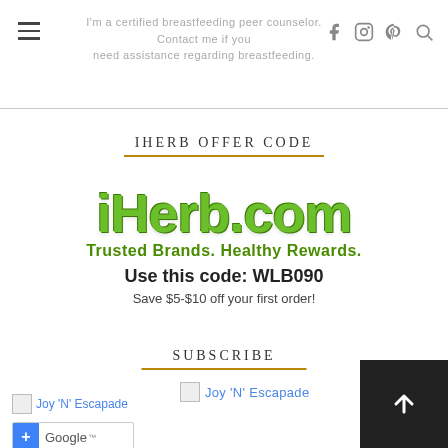I'm a certified breastfeeding peer counselor. Contact me if you need assistance regarding breastfeeding.
IHERB OFFER CODE
[Figure (logo): iHerb.com logo with tagline 'Trusted Brands. Healthy Rewards.' and offer code WLB090]
Use this code: WLB090
Save $5-$10 off your first order!
SUBSCRIBE
[Figure (screenshot): Joy 'N' Escapade subscription widget with broken image icon]
[Figure (screenshot): Joy 'N' Escapade Google+ follow button with broken image]
[Figure (screenshot): Google+ follow button]